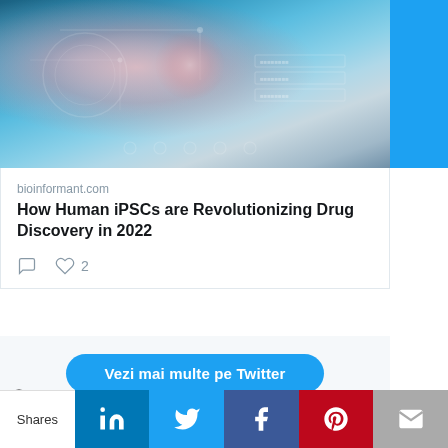[Figure (photo): Medical professional in surgical mask and cap touching a glowing digital interface with brain and circuit imagery overlaid, blue and teal tones]
bioinformant.com
How Human iPSCs are Revolutionizing Drug Discovery in 2022
♡ 2
Vezi mai multe pe Twitter
Află mai multe despre confidențialitatea pe Twitter
Shares